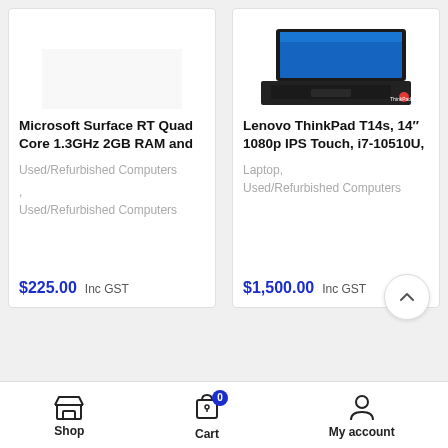[Figure (screenshot): E-commerce product listing page showing two product cards: Microsoft Surface RT and Lenovo ThinkPad T14s, with bottom navigation bar]
Microsoft Surface RT Quad Core 1.3GHz 2GB RAM and
Used/Refurbished Computers
,
Used/Refurbished Computers
$225.00  Inc GST
Lenovo ThinkPad T14s, 14" 1080p IPS Touch, i7-10510U,
Laptop, Used/Refurbished Computers
$1,500.00  Inc GST
Shop   Cart   My account